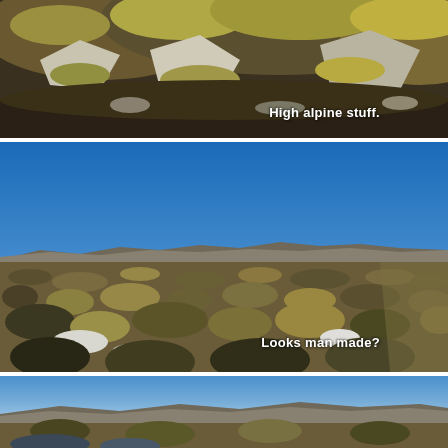[Figure (photo): Top portion of a photo showing high alpine rocky terrain with yellow-green lichen-covered rocks and boulders. Text overlay reads 'High alpine stuff.' in white.]
[Figure (photo): Wide panoramic photo of an open alpine plateau with low shrubby vegetation, scattered white rocks/snow patches, and a clear deep blue sky. Distant mountain ridgeline visible on the horizon. Text overlay reads 'Looks man made?' in white.]
[Figure (photo): Bottom portion of a third panoramic photo showing a similar alpine plateau landscape with blue sky and rolling hills/mountains in the distance.]